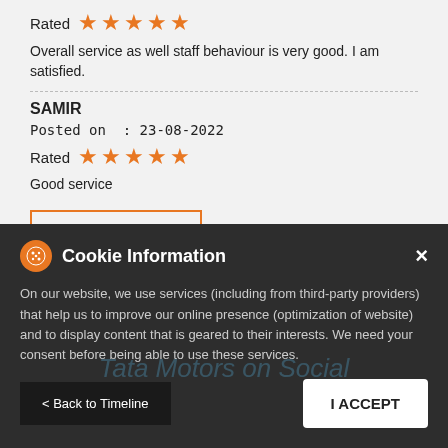Rated ★★★★★
Overall service as well staff behaviour is very good. I am satisfied.
SAMIR
Posted on  : 23-08-2022
Rated ★★★★★
Good service
SUBMIT A REVIEW
View All
Cookie Information
On our website, we use services (including from third-party providers) that help us to improve our online presence (optimization of website) and to display content that is geared to their interests. We need your consent before being able to use these services.
Tata Motors on Social
< Back to Timeline
I ACCEPT